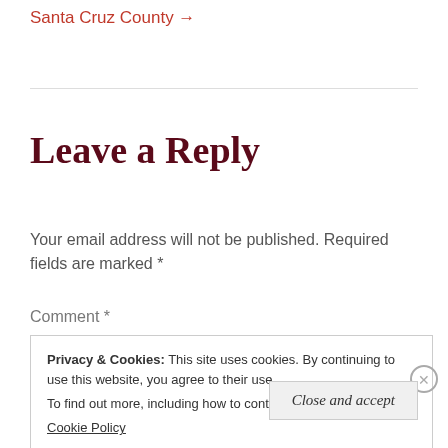Santa Cruz County →
Leave a Reply
Your email address will not be published. Required fields are marked *
Comment *
Privacy & Cookies: This site uses cookies. By continuing to use this website, you agree to their use.
To find out more, including how to control cookies, see here:
Cookie Policy
Close and accept